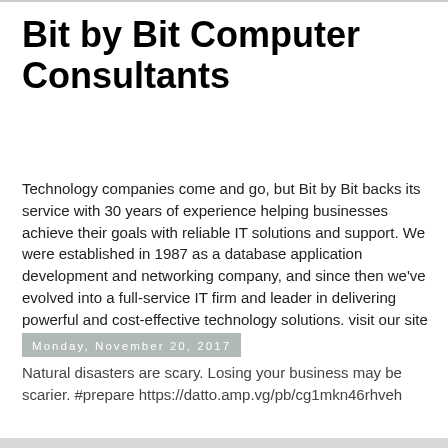Bit by Bit Computer Consultants
Technology companies come and go, but Bit by Bit backs its service with 30 years of experience helping businesses achieve their goals with reliable IT solutions and support. We were established in 1987 as a database application development and networking company, and since then we've evolved into a full-service IT firm and leader in delivering powerful and cost-effective technology solutions. visit our site at www.bitxbit.com
Monday, November 20, 2017
Natural disasters are scary. Losing your business may be scarier. #prepare https://datto.amp.vg/pb/cg1mkn46rhveh